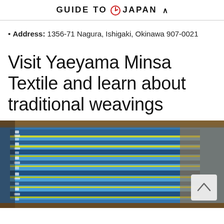GUIDE TO JAPAN ^
• Address: 1356-71 Nagura, Ishigaki, Okinawa 907-0021
Visit Yaeyama Minsa Textile and learn about traditional weavings
[Figure (photo): Close-up photograph of a blue traditional woven textile on a loom, showing intricate weaving patterns with blue, white, and yellow-green stripes. The textile appears to be Minsa fabric being woven.]